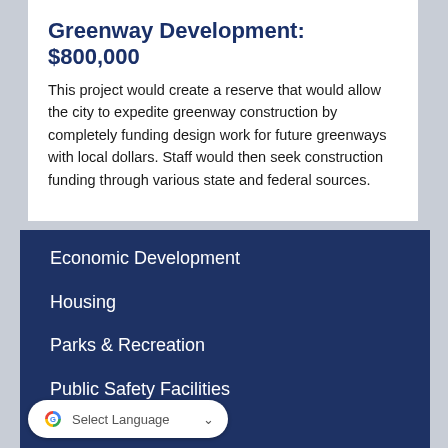Greenway Development: $800,000
This project would create a reserve that would allow the city to expedite greenway construction by completely funding design work for future greenways with local dollars. Staff would then seek construction funding through various state and federal sources.
Economic Development
Housing
Parks & Recreation
Public Safety Facilities
Streets & Sidewalks
Select Language